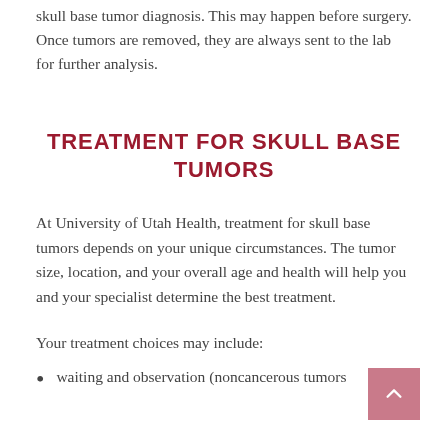skull base tumor diagnosis. This may happen before surgery. Once tumors are removed, they are always sent to the lab for further analysis.
TREATMENT FOR SKULL BASE TUMORS
At University of Utah Health, treatment for skull base tumors depends on your unique circumstances. The tumor size, location, and your overall age and health will help you and your specialist determine the best treatment.
Your treatment choices may include:
waiting and observation (noncancerous tumors